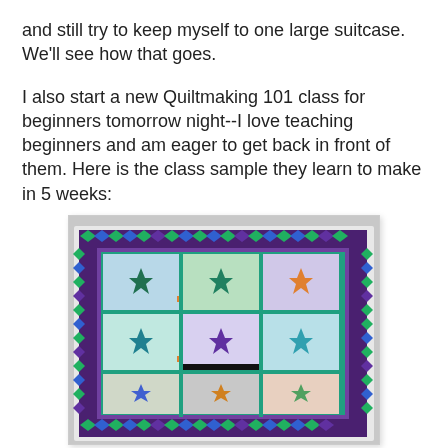and still try to keep myself to one large suitcase.  We'll see how that goes.
I also start a new Quiltmaking 101 class for beginners tomorrow night--I love teaching beginners and am eager to get back in front of them.  Here is the class sample they learn to make in 5 weeks:
[Figure (photo): A colorful quilt sample featuring star blocks in teal, blue, green, and orange arranged in a 3x4 grid pattern, surrounded by a purple and teal border with small diamond shapes.]